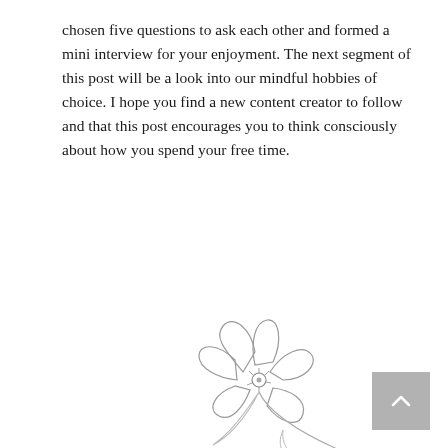chosen five questions to ask each other and formed a mini interview for your enjoyment. The next segment of this post will be a look into our mindful hobbies of choice. I hope you find a new content creator to follow and that this post encourages you to think consciously about how you spend your free time.
[Figure (illustration): A simple line drawing of a flower with five petals and a long curved stem with a leaf, drawn in light gray pencil style]